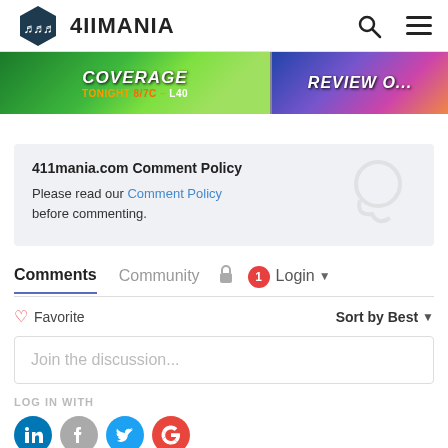411MANIA
[Figure (screenshot): Two partially visible banner images: left shows 'Coverage TONIGHT 8/7c' with green background, right shows 'Review o...' with colorful crowd background]
411mania.com Comment Policy
Please read our Comment Policy before commenting.
Comments  Community  Login
Favorite  Sort by Best
Join the discussion...
LOG IN WITH
[Figure (infographic): Social login icons: LinkedIn (blue), Facebook (gray), Twitter (light blue), Google (red)]